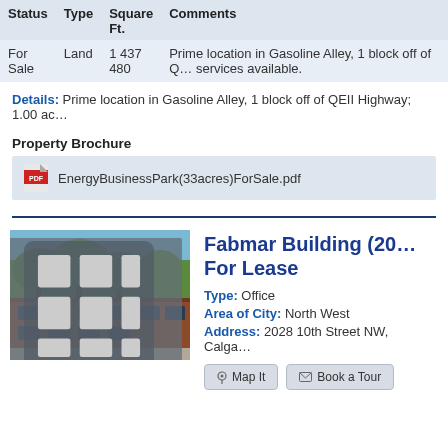| Status | Type | Square Ft. | Comments |
| --- | --- | --- | --- |
| For Sale | Land | 1 437 480 | Prime location in Gasoline Alley, 1 block off of C... services available. |
Details: Prime location in Gasoline Alley, 1 block off of QEII Highway; 1.00 ac...
Property Brochure
EnergyBusinessPark(33acres)ForSale.pdf
[Figure (photo): Photo of a two-story brick commercial building with trees in front]
Fabmar Building (20... For Lease
Type: Office
Area of City: North West
Address: 2028 10th Street NW, Calga...